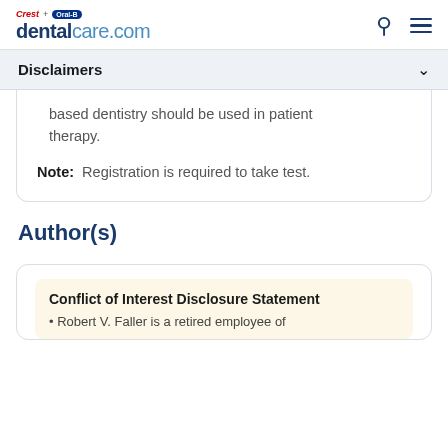[Figure (logo): Crest + Oral-B dentalcare.com logo with search and menu icons]
Disclaimers
based dentistry should be used in patient therapy.
Note:  Registration is required to take test.
Author(s)
Conflict of Interest Disclosure Statement